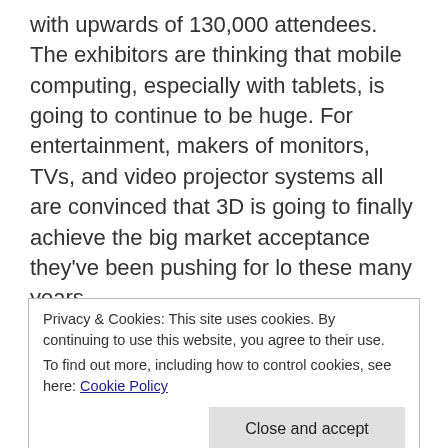with upwards of 130,000 attendees. The exhibitors are thinking that mobile computing, especially with tablets, is going to continue to be huge. For entertainment, makers of monitors, TVs, and video projector systems all are convinced that 3D is going to finally achieve the big market acceptance they've been pushing for lo these many years.
The show itself took up the entire Las Vegas Convention Center, all the halls and all their levels. There were exhibitors also at the Hilton and the Venetian hotels. Having so many attendees come
Privacy & Cookies: This site uses cookies. By continuing to use this website, you agree to their use.
To find out more, including how to control cookies, see here: Cookie Policy
upset about intrusions into their personal space.